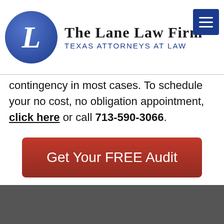The Lane Law Firm — Texas Attorneys at Law
contingency in most cases. To schedule your no cost, no obligation appointment, click here or call 713-590-3066.
[Figure (other): Red CTA button reading 'Get Your FREE Audit']
[Figure (other): Dark gray popup overlay with book image showing '5', 'In a hurry?' heading, close button (x), 'Take the guide with you!' text, and 'Download the Guide' button with chat bubble icon]
In a hurry?
Take the guide with you!
Download the Guide